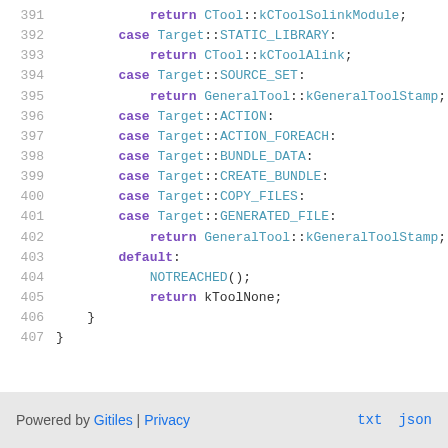391    return CTool::kCToolSolinkModule;
392    case Target::STATIC_LIBRARY:
393      return CTool::kCToolAlink;
394    case Target::SOURCE_SET:
395      return GeneralTool::kGeneralToolStamp;
396    case Target::ACTION:
397    case Target::ACTION_FOREACH:
398    case Target::BUNDLE_DATA:
399    case Target::CREATE_BUNDLE:
400    case Target::COPY_FILES:
401    case Target::GENERATED_FILE:
402      return GeneralTool::kGeneralToolStamp;
403    default:
404      NOTREACHED();
405      return kToolNone;
406  }
407 }
Powered by Gitiles | Privacy    txt  json